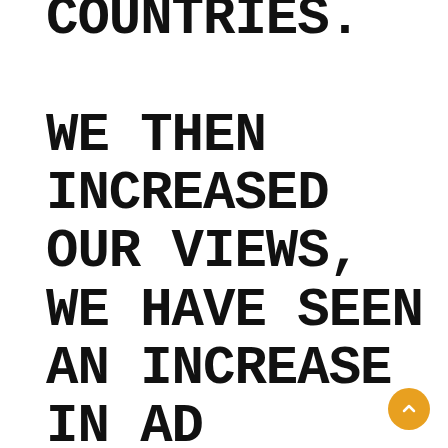COUNTRIES. WE THEN INCREASED OUR VIEWS, WE HAVE SEEN AN INCREASE IN AD REVENUE. WE EARNED £318 COMPARED TO